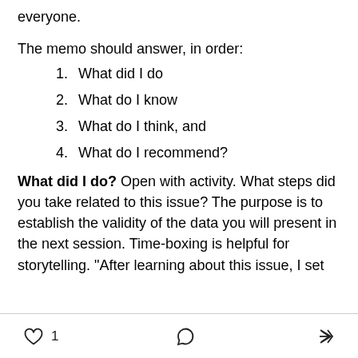everyone.
The memo should answer, in order:
1. What did I do
2. What do I know
3. What do I think, and
4. What do I recommend?
What did I do? Open with activity. What steps did you take related to this issue? The purpose is to establish the validity of the data you will present in the next session. Time-boxing is helpful for storytelling. "After learning about this issue, I set